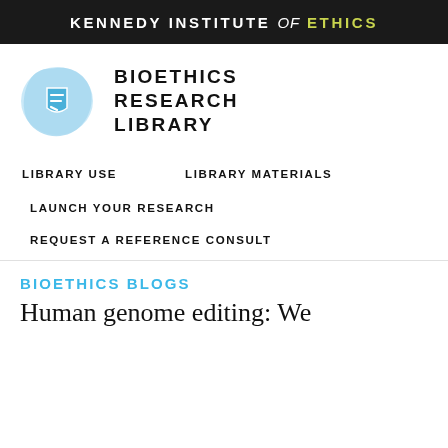KENNEDY INSTITUTE of ETHICS
[Figure (logo): Bioethics Research Library logo: a blue shield icon on a light blue organic shape, with bold uppercase text 'BIOETHICS RESEARCH LIBRARY']
LIBRARY USE
LIBRARY MATERIALS
LAUNCH YOUR RESEARCH
REQUEST A REFERENCE CONSULT
BIOETHICS BLOGS
Human genome editing: We